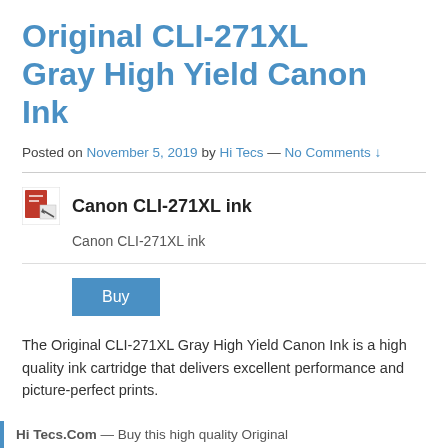Original CLI-271XL Gray High Yield Canon Ink
Posted on November 5, 2019 by Hi Tecs — No Comments ↓
[Figure (other): Canon CLI-271XL ink product card with icon, title, subtitle, and Buy button]
The Original CLI-271XL Gray High Yield Canon Ink is a high quality ink cartridge that delivers excellent performance and picture-perfect prints.
Hi Tecs.Com — Buy this high quality Original